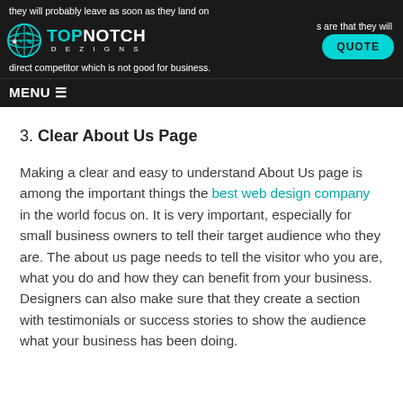they will probably leave as soon as they land on [page]. Chances are that they will [go to] direct competitor which is not good for business.
[Figure (logo): Top Notch Dezigns logo with globe icon and QUOTE button navigation bar]
3. Clear About Us Page
Making a clear and easy to understand About Us page is among the important things the best web design company in the world focus on. It is very important, especially for small business owners to tell their target audience who they are. The about us page needs to tell the visitor who you are, what you do and how they can benefit from your business. Designers can also make sure that they create a section with testimonials or success stories to show the audience what your business has been doing.